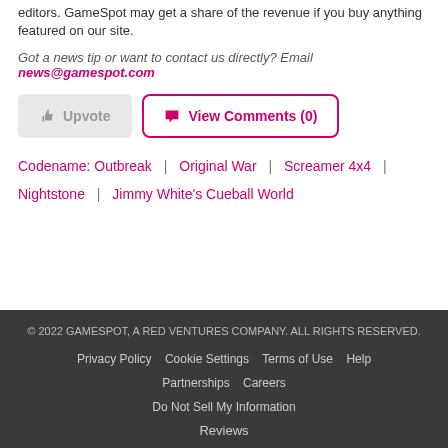editors. GameSpot may get a share of the revenue if you buy anything featured on our site.
Got a news tip or want to contact us directly? Email news@gamespot.com
[Figure (other): Upvote button and View Comments (0) button]
Codename: Outbreak | Original War | Screamer 4x4 | Nightstone | Jimmy White's Cueball World
© 2022 GAMESPOT, A RED VENTURES COMPANY. ALL RIGHTS RESERVED. Privacy Policy  Cookie Settings  Terms of Use  Help  Partnerships  Careers  Do Not Sell My Information  Reviews